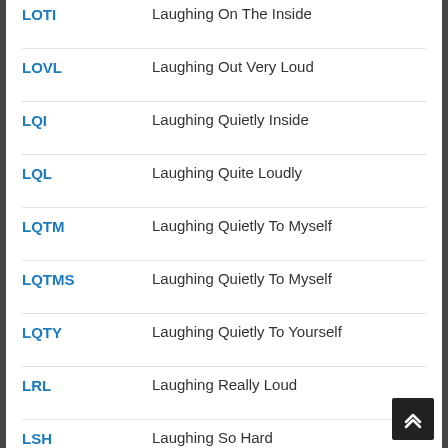LOTI — Laughing On The Inside
LOVL — Laughing Out Very Loud
LQI — Laughing Quietly Inside
LQL — Laughing Quite Loudly
LQTM — Laughing Quietly To Myself
LQTMS — Laughing Quietly To Myself
LQTY — Laughing Quietly To Yourself
LRL — Laughing Really Loud
LSH — Laughing So Hard
LSHIC — Laughing So Hard I'm Crying
LSHIDMT — Laughing So Hard I Drop My Taco
LSHMBH — Laughing So Hard My Belly Hurts